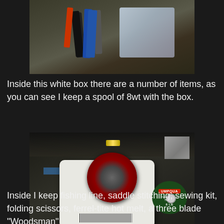[Figure (photo): Photo of first aid and survival items laid out on a dark surface, including what appears to be markers/pens, foil packets and bandages]
Inside this white box there are a number of items, as you can see I keep a spool of 8wt with the box.
[Figure (photo): Photo of a white plastic box with an Umpqua brand spool of 8lb fishing line resting on top, set against a dark background with some foil packaging visible]
Inside I keep fishing line, saddle stitching, sewing kit, folding scissors, ferrel-tite hot melt, a three blade "Woodsman"